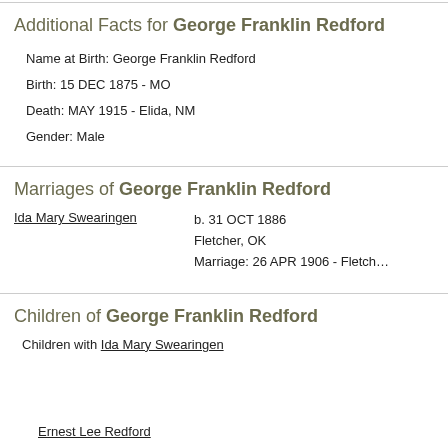Additional Facts for George Franklin Redford
Name at Birth: George Franklin Redford
Birth: 15 DEC 1875 - MO
Death: MAY 1915 - Elida, NM
Gender: Male
Marriages of George Franklin Redford
Ida Mary Swearingen	b. 31 OCT 1886
Fletcher, OK
Marriage: 26 APR 1906 - Fletch...
Children of George Franklin Redford
Children with Ida Mary Swearingen	b. 31 OCT...
Fletcher, O...
Ernest Lee Redford	b. 11 JUL 1...